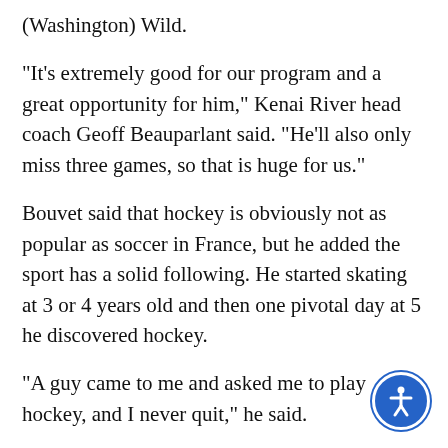(Washington) Wild.
“It’s extremely good for our program and a great opportunity for him,” Kenai River head coach Geoff Beauparlant said. “He’ll also only miss three games, so that is huge for us.”
Bouvet said that hockey is obviously not as popular as soccer in France, but he added the sport has a solid following. He started skating at 3 or 4 years old and then one pivotal day at 5 he discovered hockey.
“A guy came to me and asked me to play hockey, and I never quit,” he said.
Before last season, Bouvet decided to try his luck in America. He attended a showcase in Chicago and ended up on the roster of the Corpus Christi (Texas)